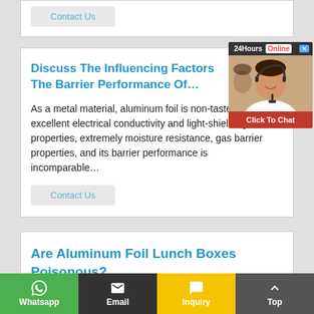Contact Us
Discuss The Influencing Factors The Barrier Performance Of…
As a metal material, aluminum foil is non-tasteless, has excellent electrical conductivity and light-shielding properties, extremely moisture resistance, gas barrier properties, and its barrier performance is incomparable…
Contact Us
Are Aluminum Foil Lunch Boxes Poisonous?
[Figure (screenshot): Live chat widget showing '24Hours Online' header, a customer service representative photo, and 'Click To Chat' red button]
Whatsapp | Email | Inquiry | Top